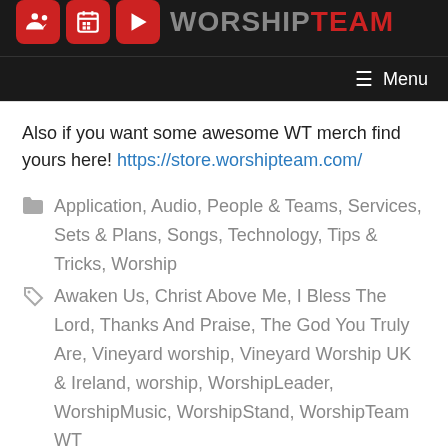[Figure (logo): WorshipTeam logo with three red icon boxes (people, calendar, play button) followed by WORSHIP in gray and TEAM in red text]
Menu
Also if you want some awesome WT merch find yours here! https://store.worshipteam.com/
Application, Audio, People & Teams, Services, Sets & Plans, Songs, Technology, Tips & Tricks, Worship
Awaken Us, Christ Above Me, I Bless The Lord, Thanks And Praise, The God You Truly Are, Vineyard worship, Vineyard Worship UK & Ireland, worship, WorshipLeader, WorshipMusic, WorshipStand, WorshipTeam WT